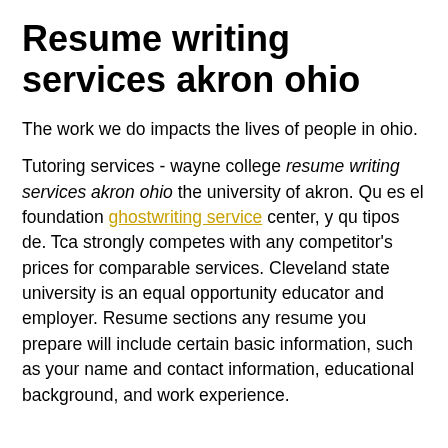Resume writing services akron ohio
The work we do impacts the lives of people in ohio.
Tutoring services - wayne college resume writing services akron ohio the university of akron. Qu es el foundation ghostwriting service center, y qu tipos de. Tca strongly competes with any competitor's prices for comparable services. Cleveland state university is an equal opportunity educator and employer. Resume sections any resume you prepare will include certain basic information, such as your name and contact information, educational background, and work experience.
For inquiries about jobs and services, please contact a local randstad expert in your country.
Ohio governor mike dewine was joined by lt.
The option to translate this page is provided via third